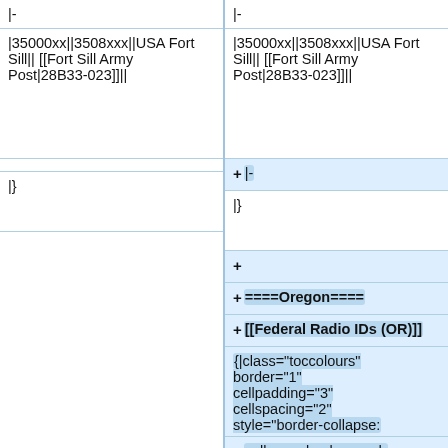|-
|-
|35000xx||3508xxx||USA Fort Sill|| [[Fort Sill Army Post|28B33-023]]||
|35000xx||3508xxx||USA Fort Sill|| [[Fort Sill Army Post|28B33-023]]||
+|-
|}
|}
+
+====Oregon====
+[[Federal Radio IDs (OR)]]
{|class="toccolours" border="1" cellpadding="3" cellspacing="2" style="border-collapse: collapse; background-
+collapse; background-